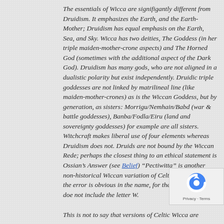The essentials of Wicca are signifigantly different from Druidism. It emphasizes the Earth, and the Earth-Mother; Druidism has equal emphasis on the Earth, Sea, and Sky. Wicca has two deities, The Goddess (in her triple maiden-mother-crone aspects) and The Horned God (sometimes with the additional aspect of the Dark God). Druidism has many gods, who are not aligned in a dualistic polarity but exist independently. Druidic triple goddesses are not linked by matrilineal line (like maiden-mother-crones) as is the Wiccan Goddess, but by generation, as sisters: Morrigu/Nemhain/Babd (war & battle goddesses), Banba/Fodla/Eiru (land and sovereignty goddesses) for example are all sisters. Witchcraft makes liberal use of four elements whereas Druidism does not. Druids are not bound by the Wiccan Rede; perhaps the closest thing to an ethical statement is Ossian's Answer (see Belief) “Pectiwitta” is another non-historical Wiccan variation of Celtic religion, and the error is obvious in the name, for the Gaelic language does not include the letter W.
This is not to say that versions of Celtic Wicca are